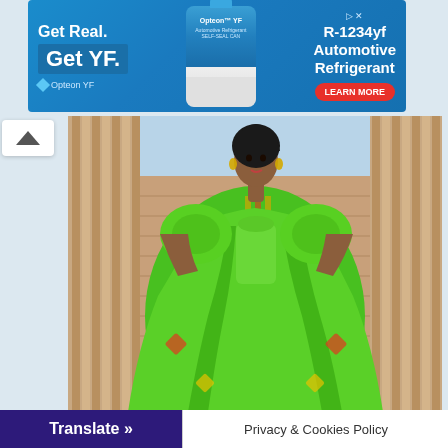[Figure (screenshot): Advertisement banner for Opteon YF R-1234yf Automotive Refrigerant with blue background, product bottle image, and Learn More button]
[Figure (photo): A woman wearing a vibrant green African print dress with large puffed sleeves standing between classical columns]
Translate »
Privacy & Cookies Policy